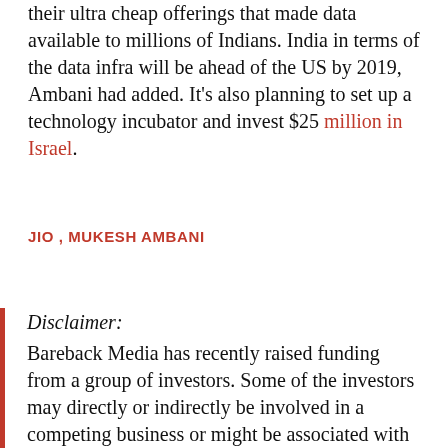their ultra cheap offerings that made data available to millions of Indians. India in terms of the data infra will be ahead of the US by 2019, Ambani had added. It's also planning to set up a technology incubator and invest $25 million in Israel.
JIO , MUKESH AMBANI
Disclaimer: Bareback Media has recently raised funding from a group of investors. Some of the investors may directly or indirectly be involved in a competing business or might be associated with other companies we might write about. This shall, however, not influence our reporting or coverage in any manner whatsoever. You may find a list of our